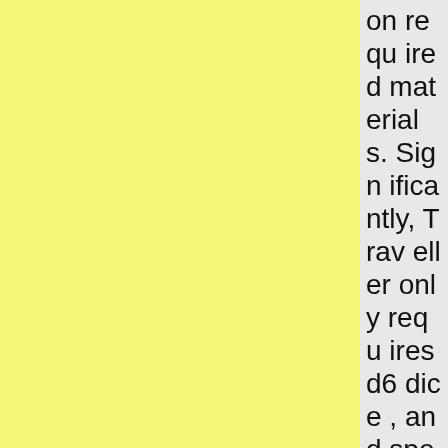on required materials. Significantly, Traveller only required 6 dice, and specifically only two